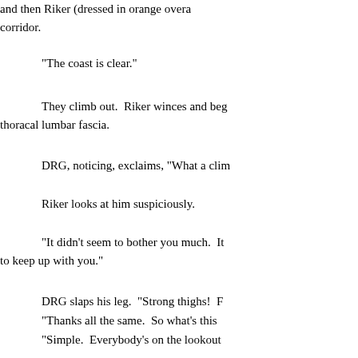and then Riker (dressed in orange overa corridor.
"The coast is clear."
They climb out.  Riker winces and beg thoracal lumbar fascia.
DRG, noticing, exclaims, "What a clim
Riker looks at him suspiciously.
"It didn't seem to bother you much.  It to keep up with you."
DRG slaps his leg.  "Strong thighs!  F
"Thanks all the same.  So what's this
"Simple.  Everybody's on the lookout
"Right."
"But they're not on the lookout for me
"That's because they don't know you'r